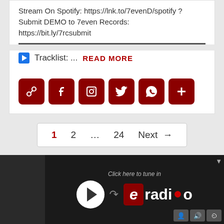Stream On Spotify: https://lnk.to/7evenD/spotify ?
Submit DEMO to 7even Records:
https://bit.ly/7rcsubmit
▶Tracklist: ... READ MORE
[Figure (screenshot): Social share icon buttons: link, facebook, pinterest, twitter, whatsapp, more]
1  2  ...  24  Next →
[Figure (screenshot): eradio banner: Click here to tune in, play button, eradio logo, controls]